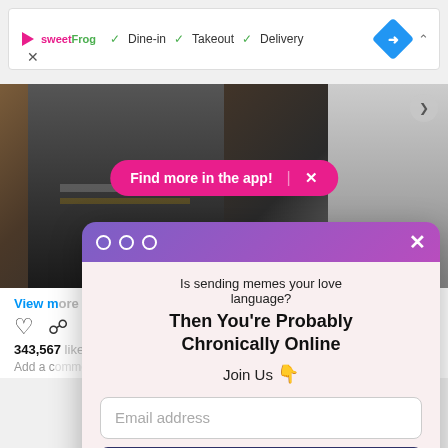[Figure (screenshot): Ad bar with SweetFrog logo, Dine-in, Takeout, Delivery checkmarks, navigation icon, and close button]
[Figure (photo): Photo of a person in a black jacket with a pink 'Find more in the app!' banner overlay]
View m
343,567
Add a c
[Figure (screenshot): Modal popup with gradient header, dots, X close button, newsletter signup form with text 'Is sending memes your love language? Then You're Probably Chronically Online Join Us', email input, Sign Me Up button, and No Thanks link]